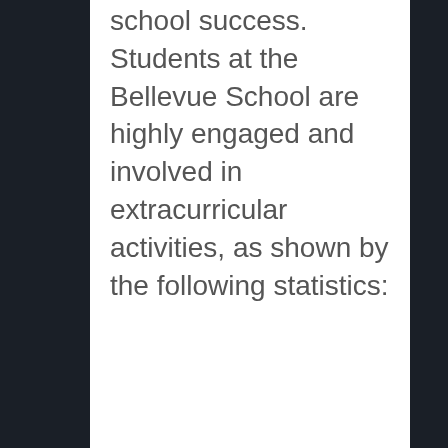school success. Students at the Bellevue School are highly engaged and involved in extracurricular activities, as shown by the following statistics: